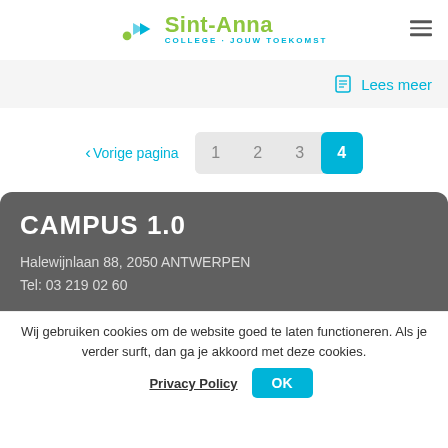[Figure (logo): Sint-Anna College logo with blue arrow icon and green text, tagline COLLEGE · JOUW TOEKOMST]
Lees meer
‹ Vorige pagina  1  2  3  4
CAMPUS 1.0
Halewijnlaan 88, 2050 ANTWERPEN
Tel: 03 219 02 60
Wij gebruiken cookies om de website goed te laten functioneren. Als je verder surft, dan ga je akkoord met deze cookies.
Privacy Policy
OK